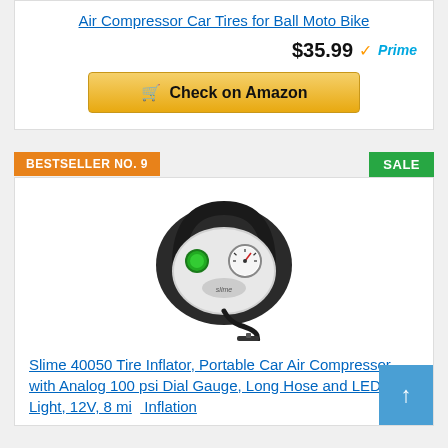Air Compressor Car Tires for Ball Moto Bike
$35.99 ✓Prime
Check on Amazon
BESTSELLER NO. 9
SALE
[Figure (photo): Slime 40050 portable car air compressor with analog gauge, power button, and 12V car plug cable]
Slime 40050 Tire Inflator, Portable Car Air Compressor, with Analog 100 psi Dial Gauge, Long Hose and LED Light, 12V, 8 min Inflation